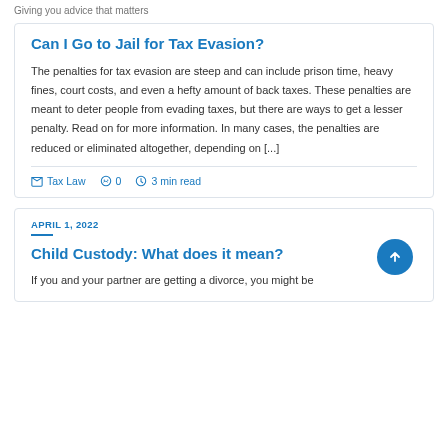Giving you advice that matters
Can I Go to Jail for Tax Evasion?
The penalties for tax evasion are steep and can include prison time, heavy fines, court costs, and even a hefty amount of back taxes. These penalties are meant to deter people from evading taxes, but there are ways to get a lesser penalty. Read on for more information. In many cases, the penalties are reduced or eliminated altogether, depending on [...]
Tax Law  0  3 min read
APRIL 1, 2022
Child Custody: What does it mean?
If you and your partner are getting a divorce, you might be